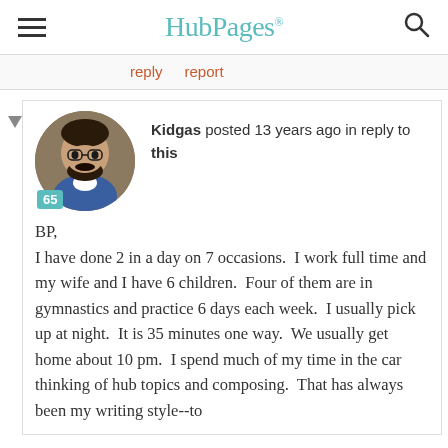HubPages
reply   report
Kidgas posted 13 years ago in reply to this

BP,
I have done 2 in a day on 7 occasions.  I work full time and my wife and I have 6 children.  Four of them are in gymnastics and practice 6 days each week.  I usually pick up at night.  It is 35 minutes one way.  We usually get home about 10 pm.  I spend much of my time in the car thinking of hub topics and composing.  That has always been my writing style--to